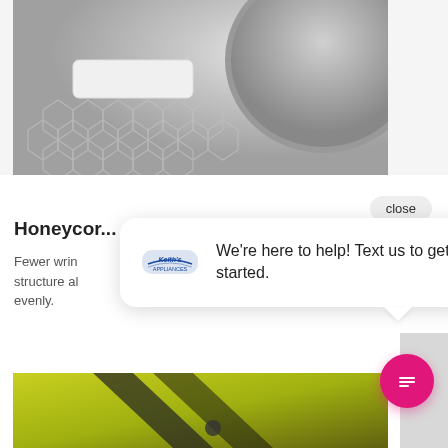[Figure (photo): Close-up of a washing machine drum interior showing a honeycomb-patterned stainless steel surface. The hexagonal pattern is visible on a white/silver drum surface with part of the circular drum opening visible.]
close
Honeycomb Drum
Fewer wrinkles structure al evenly.
[Figure (screenshot): Chat widget popup with logo for Keith's Appliances and text: We're here to help! Text us to get started.]
[Figure (photo): Partial view of yellow/lime green sneakers at the bottom of the page.]